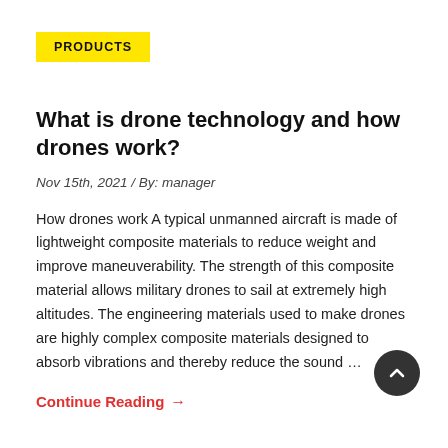PRODUCTS
What is drone technology and how drones work?
Nov 15th, 2021 / By: manager
How drones work A typical unmanned aircraft is made of lightweight composite materials to reduce weight and improve maneuverability. The strength of this composite material allows military drones to sail at extremely high altitudes. The engineering materials used to make drones are highly complex composite materials designed to absorb vibrations and thereby reduce the sound …
Continue Reading →